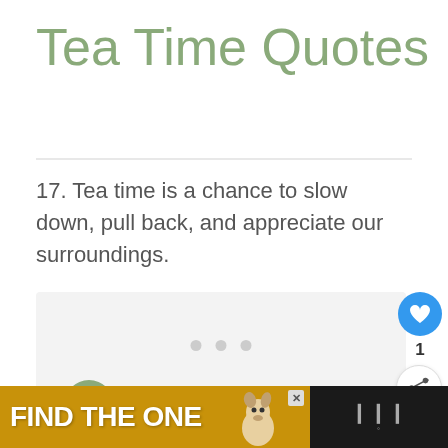Tea Time Quotes
17. Tea time is a chance to slow down, pull back, and appreciate our surroundings.
[Figure (infographic): A light gray image placeholder area with three small gray dots centered, representing an image carousel. There is a green share icon button on the lower left, a blue heart/like button on the right side, a count of 1, and a share icon button below. A 'What's Next' panel shows in the lower right corner with a thumbnail, label 'WHAT'S NEXT →' and text '61+ Perfect Quotes abo...']
[Figure (screenshot): Advertisement bar at the bottom: dark background on left and right; yellow/gold center section with bold white text 'FIND THE ONE' and a dog image; a close/X button; right side has a music app icon with bars symbol.]